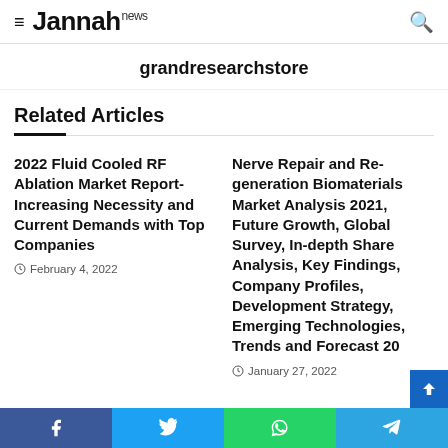≡ Jannah news [search icon]
grandresearchstore
Related Articles
2022 Fluid Cooled RF Ablation Market Report- Increasing Necessity and Current Demands with Top Companies
February 4, 2022
Nerve Repair and Re-generation Biomaterials Market Analysis 2021, Future Growth, Global Survey, In-depth Share Analysis, Key Findings, Company Profiles, Development Strategy, Emerging Technologies, Trends and Forecast 20
January 27, 2022
Facebook | Twitter | WhatsApp | Telegram